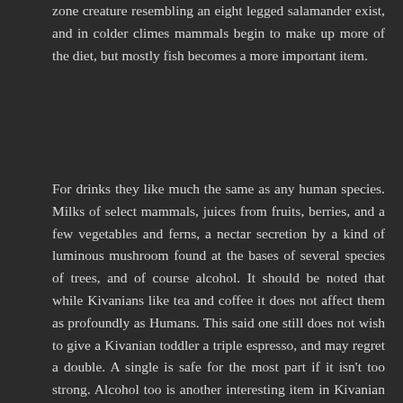zone creature resembling an eight legged salamander exist, and in colder climes mammals begin to make up more of the diet, but mostly fish becomes a more important item.
For drinks they like much the same as any human species. Milks of select mammals, juices from fruits, berries, and a few vegetables and ferns, a nectar secretion by a kind of luminous mushroom found at the bases of several species of trees, and of course alcohol. It should be noted that while Kivanians like tea and coffee it does not affect them as profoundly as Humans. This said one still does not wish to give a Kivanian toddler a triple espresso, and may regret a double. A single is safe for the most part if it isn't too strong. Alcohol too is another interesting item in Kivanian blood streams. They seem almost immune to grain alcohol, and drink wood alcohols for the same effects and purposes we would consume the afore mentioned grain items. Curiously it is safe for humans to drink a small handful of these products, either due to the extremely low concentration of the alcohol combined with a few mitigating ingredients, and the others